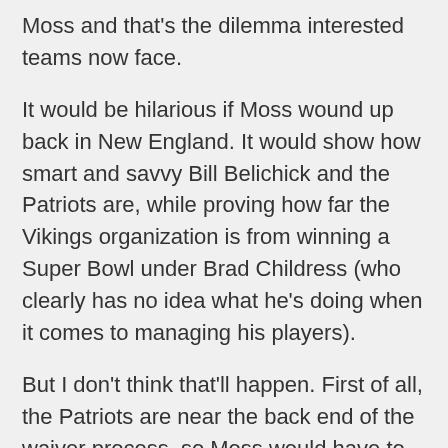Moss and that's the dilemma interested teams now face.
It would be hilarious if Moss wound up back in New England. It would show how smart and savvy Bill Belichick and the Patriots are, while proving how far the Vikings organization is from winning a Super Bowl under Brad Childress (who clearly has no idea what he's doing when it comes to managing his players).
But I don't think that'll happen. First of all, the Patriots are near the back end of the waiver process, so Moss would have to get through the likes of the Cowboys, Panthers, 49ers, Broncos, Seahawks and Dolphins before New England had its shot at him. Plus, Belichick and the Pats have seemingly moved on and are doing just fine without Moss' baggage.
If not the Patriots, then who? I think you have to ask the question of which team has the most to gain. The